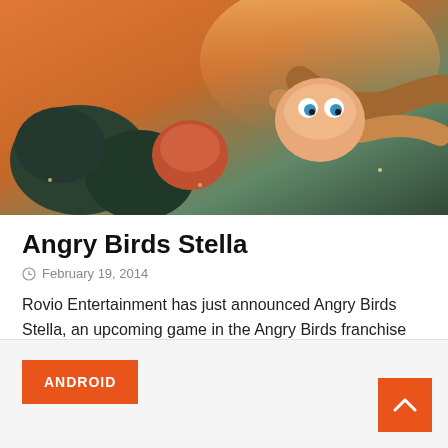[Figure (illustration): Angry Birds Stella promotional game artwork showing animated bird characters against a sunset/dusk background with foliage, with 'Stella' text in stylized italic font at the top]
Angry Birds Stella
February 19, 2014
Rovio Entertainment has just announced Angry Birds Stella, an upcoming game in the Angry Birds franchise aimed at female fans. Rovio has given some background on the story of the game. Six new characters have been introduced in Angry Birds Stella, with Stella being the protagonist. [...]
ANDROID